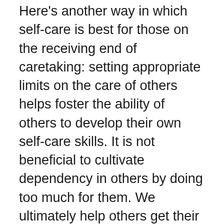Here's another way in which self-care is best for those on the receiving end of caretaking: setting appropriate limits on the care of others helps foster the ability of others to develop their own self-care skills. It is not beneficial to cultivate dependency in others by doing too much for them. We ultimately help others get their needs met best by teaching them how to become more self-reliant. We do them an even greater service when we teach them how to reciprocate caregiving with others. This will help them develop better relationships that will provide a more sustainable source of care in their future. Caregivers don't need to just say “no”; they need to say things like, “I can show you how you can do this for